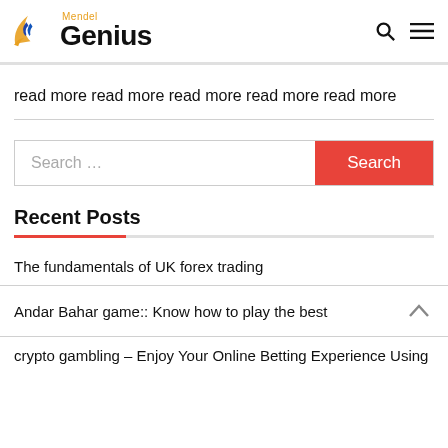Mendel Genius
read more read more read more read more read more
Search ...
Recent Posts
The fundamentals of UK forex trading
Andar Bahar game:: Know how to play the best
crypto gambling – Enjoy Your Online Betting Experience Using